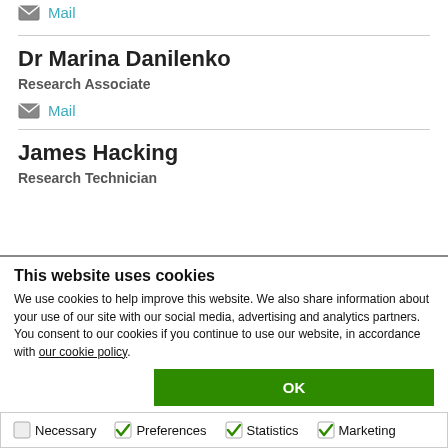Mail
Dr Marina Danilenko
Research Associate
Mail
James Hacking
Research Technician
This website uses cookies
We use cookies to help improve this website. We also share information about your use of our site with our social media, advertising and analytics partners. You consent to our cookies if you continue to use our website, in accordance with our cookie policy.
OK
Necessary  Preferences  Statistics  Marketing